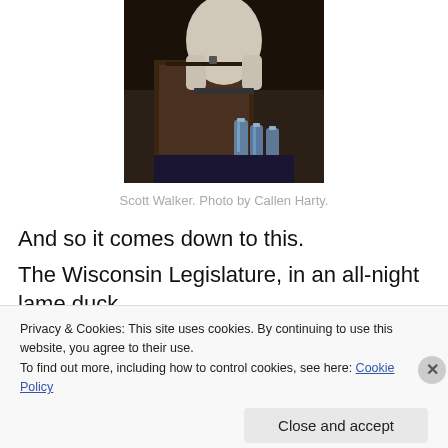[Figure (photo): Person standing at a podium/lectern, wearing a white shirt, with water bottles visible on a table in the background. Dark dramatic lighting.]
Scott Walker. Photo by Callen Harty.
And so it comes down to this.
The Wisconsin Legislature, in an all-night lame duck
Privacy & Cookies: This site uses cookies. By continuing to use this website, you agree to their use.
To find out more, including how to control cookies, see here: Cookie Policy
Close and accept